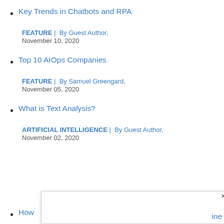Key Trends in Chatbots and RPA
FEATURE |  By Guest Author,
November 10, 2020
Top 10 AIOps Companies
FEATURE |  By Samuel Greengard,
November 05, 2020
What is Text Analysis?
ARTIFICIAL INTELLIGENCE |  By Guest Author,
November 02, 2020
How…ine